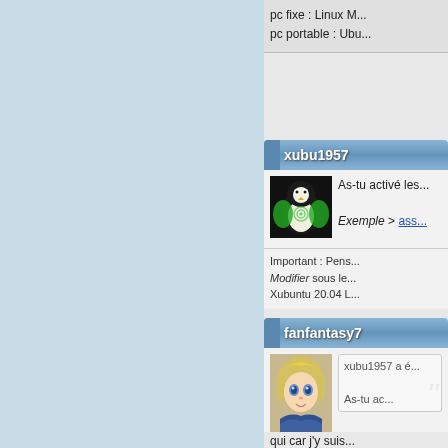pc fixe : Linux M...
pc portable : Ubu...
xubu1957
As-tu activé les...
Exemple > ass...
Important : Pens...
Modifier sous le...
Xubuntu 20.04 L...
fanfantasy7
xubu1957 a é...
As-tu ac...
qui car j'y suis...